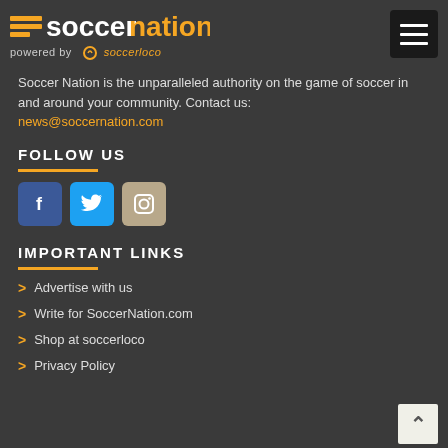[Figure (logo): SoccerNation logo with orange soccer graphic and text 'soccernation powered by soccerloco']
[Figure (other): Hamburger menu button (black square with three white lines)]
Soccer Nation is the unparalleled authority on the game of soccer in and around your community. Contact us: news@soccernation.com
FOLLOW US
[Figure (infographic): Social media icons: Facebook (blue), Twitter (blue), Instagram (tan/beige)]
IMPORTANT LINKS
> Advertise with us
> Write for SoccerNation.com
> Shop at soccerloco
> Privacy Policy